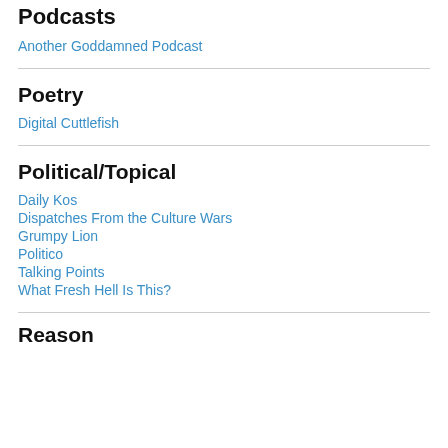Podcasts
Another Goddamned Podcast
Poetry
Digital Cuttlefish
Political/Topical
Daily Kos
Dispatches From the Culture Wars
Grumpy Lion
Politico
Talking Points
What Fresh Hell Is This?
Reason